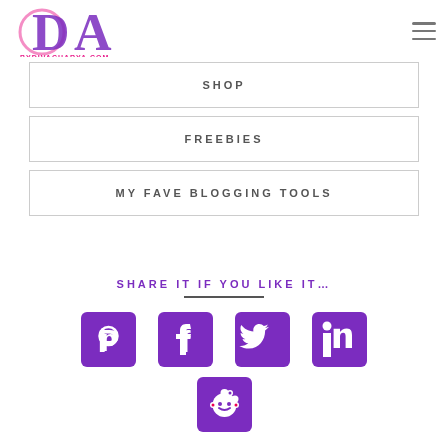[Figure (logo): ByDivaCharya.com logo with large purple D and A letters and pink text]
SHOP
FREEBIES
MY FAVE BLOGGING TOOLS
SHARE IT IF YOU LIKE IT…
[Figure (illustration): Social sharing icons: Pinterest, Facebook, Twitter, LinkedIn, Reddit — all in purple rounded square style]